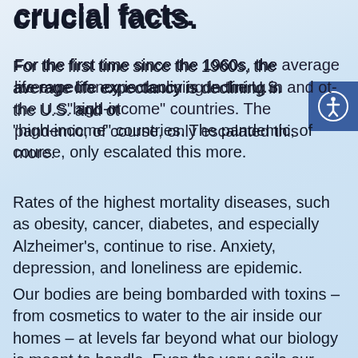crucial facts.
For the first time since the 1960s, the average life expectancy is declining in the U.S. and other "high-income" countries. The pandemic, of course, only escalated this more.
Rates of the highest mortality diseases, such as obesity, cancer, diabetes, and especially Alzheimer's, continue to rise. Anxiety, depression, and loneliness are epidemic.
Our bodies are being bombarded with toxins – from cosmetics to water to the air inside our homes – at levels far beyond what our biology is meant to handle. Even the very soils our food grows in is in grave danger.